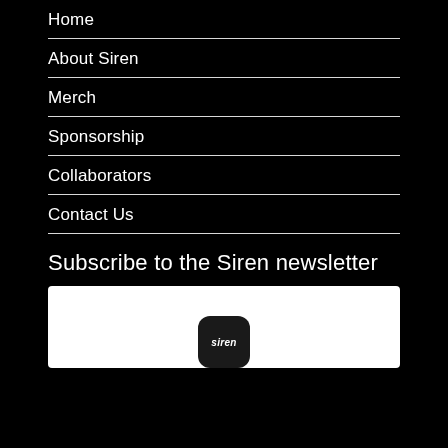Home
About Siren
Merch
Sponsorship
Collaborators
Contact Us
Subscribe to the Siren newsletter
[Figure (logo): Siren app icon with dark rounded square background and white italic 'siren' text]